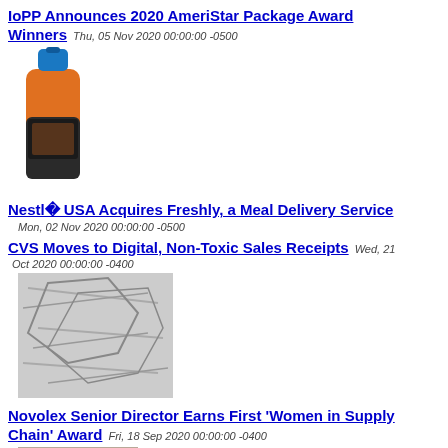IoPP Announces 2020 AmeriStar Package Award Winners
Thu, 05 Nov 2020 00:00:00 -0500
[Figure (photo): Product bottle with orange and black packaging and blue cap]
Nestlé USA Acquires Freshly, a Meal Delivery Service
Mon, 02 Nov 2020 00:00:00 -0500
CVS Moves to Digital, Non-Toxic Sales Receipts
Wed, 21 Oct 2020 00:00:00 -0400
[Figure (photo): Crumpled paper receipts in black and white]
Novolex Senior Director Earns First 'Women in Supply Chain' Award
Fri, 18 Sep 2020 00:00:00 -0400
[Figure (photo): Portrait photo of a woman with dark hair smiling]
GreenTek Packaging Launches Disposable Utensils